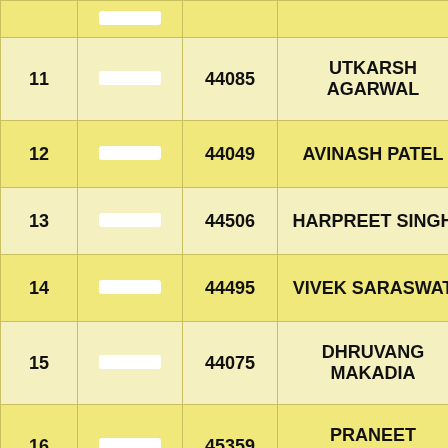| # | Image | ID | Name |
| --- | --- | --- | --- |
| 11 |  | 44085 | UTKARSH AGARWAL |
| 12 |  | 44049 | AVINASH PATEL |
| 13 |  | 44506 | HARPREET SINGH |
| 14 |  | 44495 | VIVEK SARASWAT |
| 15 |  | 44075 | DHRUVANG MAKADIA |
| 16 |  | 45359 | PRANEET KHANDELWAL |
| 17 |  | 46352 | SHUBHAM JAIN |